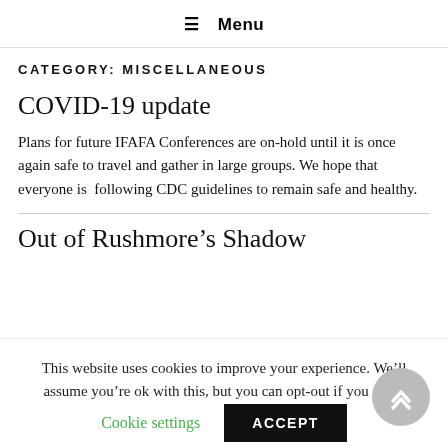≡ Menu
CATEGORY: MISCELLANEOUS
COVID-19 update
Plans for future IFAFA Conferences are on-hold until it is once again safe to travel and gather in large groups. We hope that everyone is following CDC guidelines to remain safe and healthy.
Out of Rushmore's Shadow
This website uses cookies to improve your experience. We'll assume you're ok with this, but you can opt-out if you wish.
Cookie settings   ACCEPT